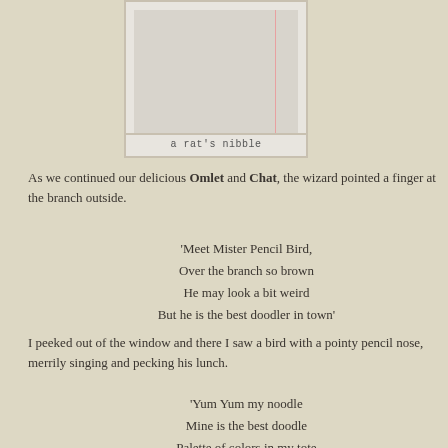[Figure (illustration): A book or notepad illustration with a light gray background and a faint pink vertical line, resembling an open notebook page with caption 'a rat's nibble']
a rat's nibble
As we continued our delicious Omlet and Chat, the wizard pointed a finger at the branch outside.
'Meet Mister Pencil Bird,
Over the branch so brown
He may look a bit weird
But he is the best doodler in town'
I peeked out of the window and there I saw a bird with a pointy pencil nose, merrily singing and pecking his lunch.
'Yum Yum my noodle
Mine is the best doodle
Palette of colors in my tote